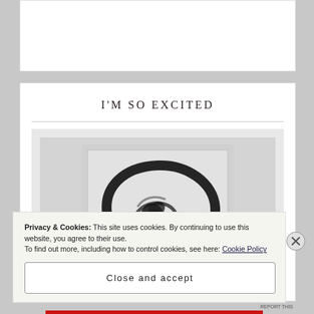I'M SO EXCITED
[Figure (illustration): Black and white artwork showing abstract brushstroke circle (enso-like) with dark ink marks inside, framed with light gray border and outer gray background]
Privacy & Cookies: This site uses cookies. By continuing to use this website, you agree to their use.
To find out more, including how to control cookies, see here: Cookie Policy
Close and accept